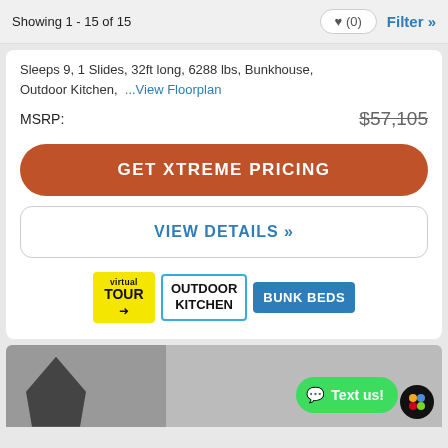Showing 1 - 15 of 15
Sleeps 9, 1 Slides, 32ft long, 6288 lbs, Bunkhouse, Outdoor Kitchen, ...View Floorplan
MSRP: $57,105
GET XTREME PRICING
VIEW DETAILS »
[Figure (other): Three badges: Virtual Tour (yellow), Outdoor Kitchen (white with blue border), Bunk Beds (blue)]
[Figure (screenshot): Bottom section showing partial image and Text Us chat button with colorful app icon]